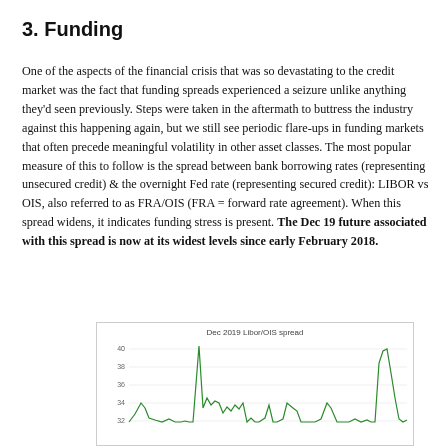3. Funding
One of the aspects of the financial crisis that was so devastating to the credit market was the fact that funding spreads experienced a seizure unlike anything they’d seen previously. Steps were taken in the aftermath to buttress the industry against this happening again, but we still see periodic flare-ups in funding markets that often precede meaningful volatility in other asset classes. The most popular measure of this to follow is the spread between bank borrowing rates (representing unsecured credit) & the overnight Fed rate (representing secured credit): LIBOR vs OIS, also referred to as FRA/OIS (FRA = forward rate agreement). When this spread widens, it indicates funding stress is present. The Dec 19 future associated with this spread is now at its widest levels since early February 2018.
[Figure (line-chart): Line chart showing Dec 2019 Libor/OIS spread over time, with values ranging roughly 10-40, showing spikes and recent rise to near 35.]